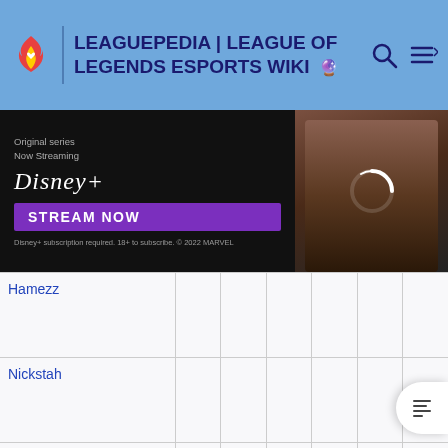LEAGUEPEDIA | LEAGUE OF LEGENDS ESPORTS WIKI
[Figure (screenshot): Disney+ ad banner: 'Original series Now Streaming' with Disney+ logo, 'STREAM NOW' purple button, fine print 'Disney+ subscription required. 18+ to subscribe. © 2022 MARVEL', and a photo of a person on the right.]
|  |  |  |  |  |  |  |
| --- | --- | --- | --- | --- | --- | --- |
| Hamezz |  |  |  |  |  |  |
| Nickstah |  |  |  |  |  |  |
| Gari |  |  |  |  |  |  |
| Jjun |  |  |  |  |  |  |
|  |  |  |  |  |  |  |